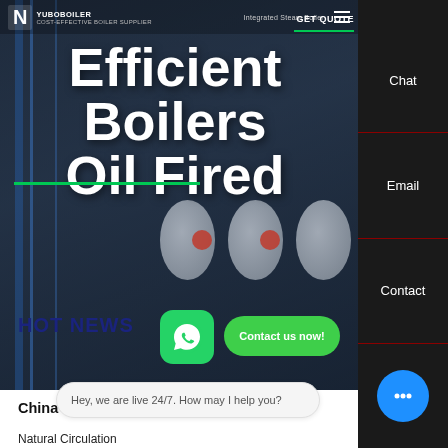COST-EFFECTIVE BOILER SUPPLIER | Integrated Steam Boiler
Efficient Boilers Oil Fired
China High Efficient Boilers Oil Fired
HOT NEWS
Natural Circulation
Chat
Email
Contact
Contact us now!
Hey, we are live 24/7. How may I help you?